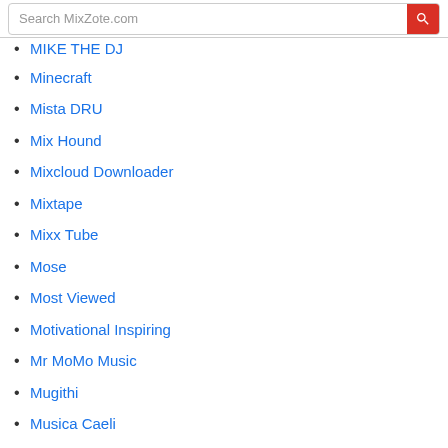Search MixZote.com
MIKE THE DJ
Minecraft
Mista DRU
Mix Hound
Mixcloud Downloader
Mixtape
Mixx Tube
Mose
Most Viewed
Motivational Inspiring
Mr MoMo Music
Mugithi
Musica Caeli
Muzik 247